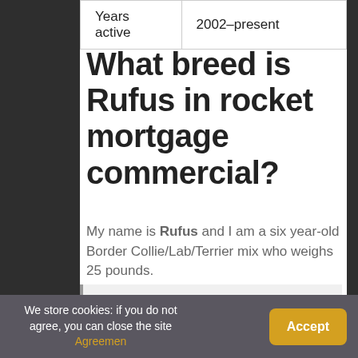| Years active | 2002–present |
What breed is Rufus in rocket mortgage commercial?
My name is Rufus and I am a six year-old Border Collie/Lab/Terrier mix who weighs 25 pounds.
You might be interested: Readers ask: What Makes A Good Actress?
We store cookies: if you do not agree, you can close the site Agreemen